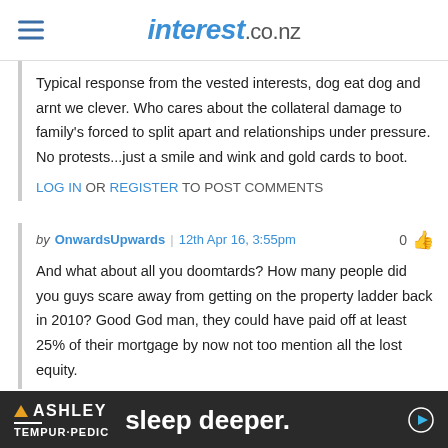interest.co.nz
Typical response from the vested interests, dog eat dog and arnt we clever. Who cares about the collateral damage to family's forced to split apart and relationships under pressure. No protests...just a smile and wink and gold cards to boot.
LOG IN OR REGISTER TO POST COMMENTS
by OnwardsUpwards | 12th Apr 16, 3:55pm   0 👍
And what about all you doomtards? How many people did you guys scare away from getting on the property ladder back in 2010? Good God man, they could have paid off at least 25% of their mortgage by now not too mention all the lost equity.
[Figure (screenshot): Ashley / Tempur-Pedic advertisement banner with text 'sleep deeper.']